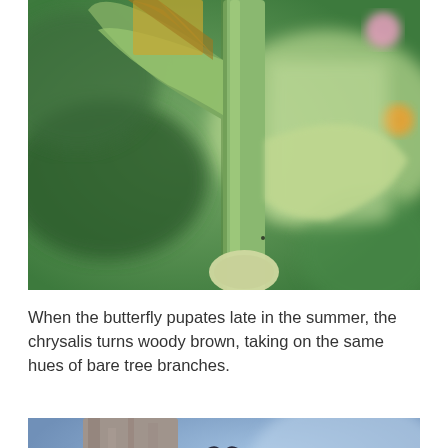[Figure (photo): Close-up macro photograph of a green plant stem/chrysalis attached to a green leaf or plant part, with blurred green foliage and colorful flowers in the background.]
When the butterfly pupates late in the summer, the chrysalis turns woody brown, taking on the same hues of bare tree branches.
[Figure (photo): Partial photograph showing what appears to be a dark butterfly or chrysalis near a tree trunk with blurred blue sky background, only the top portion visible.]